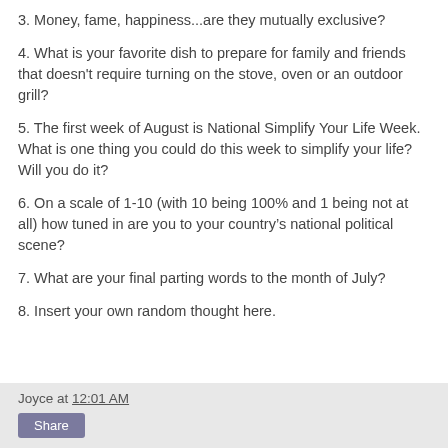3. Money, fame, happiness...are they mutually exclusive?
4. What is your favorite dish to prepare for family and friends that doesn't require turning on the stove, oven or an outdoor grill?
5. The first week of August is National Simplify Your Life Week. What is one thing you could do this week to simplify your life? Will you do it?
6. On a scale of 1-10 (with 10 being 100% and 1 being not at all) how tuned in are you to your country’s national political scene?
7. What are your final parting words to the month of July?
8. Insert your own random thought here.
Joyce at 12:01 AM  Share